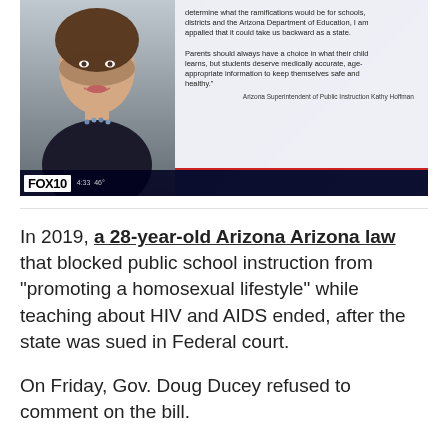[Figure (screenshot): FOX10 news broadcast screenshot showing a woman (Arizona Superintendent of Public Instruction Kathy Hoffman) with a quote box reading: 'determine what the ramifications would be for schools, districts and the Arizona Department of Education, I am appalled that it could take us backward as a state. Parents should always have a choice in what their child learns, but students deserve medically accurate, age-appropriate information to keep themselves safe and healthy.' attributed to Arizona Superintendent of Public Instruction Kathy Hoffman. FOX10 logo and timestamp 4:33 46° visible at bottom.]
In 2019, a 28-year-old Arizona Arizona law that blocked public school instruction from "promoting a homosexual lifestyle" while teaching about HIV and AIDS ended, after the state was sued in Federal court.
On Friday, Gov. Doug Ducey refused to comment on the bill.
"I'm not going to have any more comment on bills that